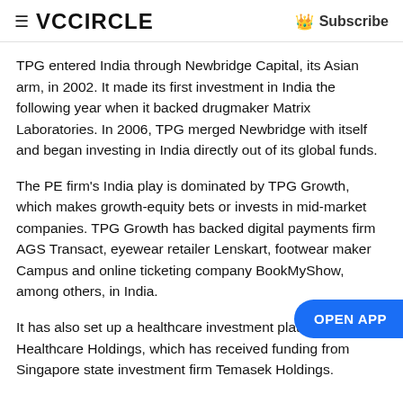≡ VCCIRCLE  Subscribe
TPG entered India through Newbridge Capital, its Asian arm, in 2002. It made its first investment in India the following year when it backed drugmaker Matrix Laboratories. In 2006, TPG merged Newbridge with itself and began investing in India directly out of its global funds.
The PE firm's India play is dominated by TPG Growth, which makes growth-equity bets or invests in mid-market companies. TPG Growth has backed digital payments firm AGS Transact, eyewear retailer Lenskart, footwear maker Campus and online ticketing company BookMyShow, among others, in India.
It has also set up a healthcare investment platform, Asia Healthcare Holdings, which has received funding from Singapore state investment firm Temasek Holdings.